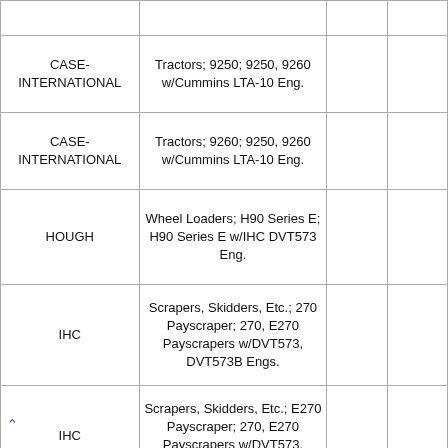| Make/Manufacturer | Vehicle/Engine Description |  |  |
| --- | --- | --- | --- |
|  | … |  |  |
| CASE-INTERNATIONAL | Tractors; 9250; 9250, 9260 w/Cummins LTA-10 Eng. |  |  |
| CASE-INTERNATIONAL | Tractors; 9260; 9250, 9260 w/Cummins LTA-10 Eng. |  |  |
| HOUGH | Wheel Loaders; H90 Series E; H90 Series E w/IHC DVT573 Eng. |  |  |
| IHC | Scrapers, Skidders, Etc.; 270 Payscraper; 270, E270 Payscrapers w/DVT573, DVT573B Engs. |  |  |
| IHC | Scrapers, Skidders, Etc.; E270 Payscraper; 270, E270 Payscrapers w/DVT573, DVT573B Engs. |  |  |
| IHC | Scrapers, Skidders, Etc.; PH65C Payhauler; PH65C Payhauler |  |  |